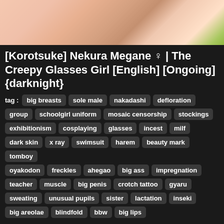[Figure (illustration): Cropped anime/manga illustration showing characters from above the waist, with skin tones of peach and brown, partial view of torsos]
[Korotsuke] Nekura Megane ♀ | The Creepy Glasses Girl [English] [Ongoing] {darknight}
tag : big breasts  sole male  nakadashi  defloration  group  schoolgirl uniform  mosaic censorship  stockings  exhibitionism  cosplaying  glasses  incest  milf  dark skin  x ray  swimsuit  harem  beauty mark  tomboy  oyakodon  freckles  ahegao  big ass  impregnation  teacher  muscle  big penis  crotch tattoo  gyaru  sweating  unusual pupils  sister  lactation  inseki  big areolae  blindfold  bbw  big lips